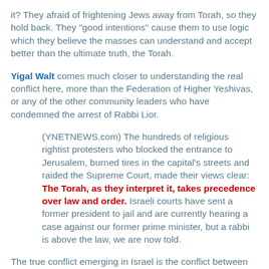it? They afraid of frightening Jews away from Torah, so they hold back. They "good intentions" cause them to use logic which they believe the masses can understand and accept better than the ultimate truth, the Torah.
Yigal Walt comes much closer to understanding the real conflict here, more than the Federation of Higher Yeshivas, or any of the other community leaders who have condemned the arrest of Rabbi Lior.
(YNETNEWS.com) The hundreds of religious rightist protesters who blocked the entrance to Jerusalem, burned tires in the capital's streets and raided the Supreme Court, made their views clear: The Torah, as they interpret it, takes precedence over law and order. Israeli courts have sent a former president to jail and are currently hearing a case against our former prime minister, but a rabbi is above the law, we are now told.
The true conflict emerging in Israel is the conflict between